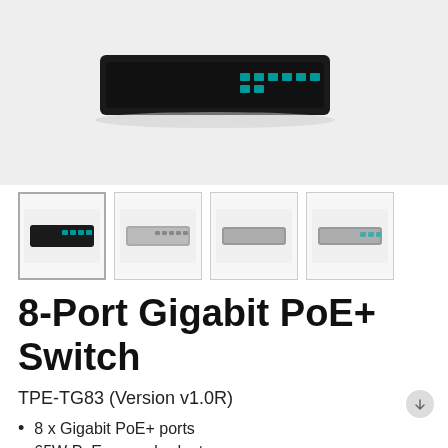[Figure (photo): Main product image showing 8-Port Gigabit PoE+ Switch on light gray background, front-angled view of black switch device]
[Figure (photo): Thumbnail 1: Black switch, front view with ports visible]
[Figure (photo): Thumbnail 2: Silver/gray switch, front view with ports]
[Figure (photo): Thumbnail 3: Silver/gray switch, top/side view]
[Figure (photo): Thumbnail 4: Silver/gray switch, close-up front ports view]
8-Port Gigabit PoE+ Switch
TPE-TG83 (Version v1.0R)
8 x Gigabit PoE+ ports
65W PoE power budget